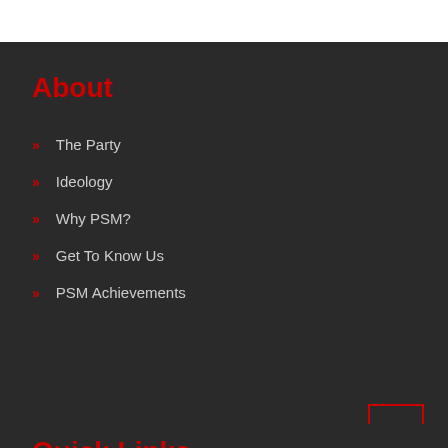About
The Party
Ideology
Why PSM?
Get To Know Us
PSM Achievements
Quick Links